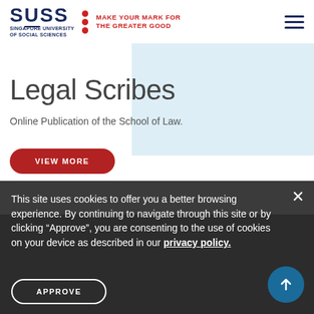[Figure (logo): SUSS Singapore University of Social Sciences logo with red dots and tagline 'MAKE YOUR MARK FOR THE GREATER GOOD']
Legal Scribes
Online Publication of the School of Law.
VIEW MORE
This site uses cookies to offer you a better browsing experience. By continuing to navigate through this site or by clicking "Approve", you are consenting to the use of cookies on your device as described in our privacy policy.
APPROVE